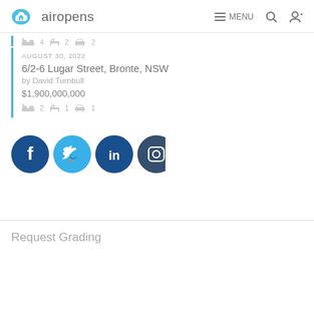airopens — MENU (search icon) (user icon)
4  2  2
AUGUST 30, 2022
6/2-6 Lugar Street, Bronte, NSW
by David Turnbull
$1,900,000,000
2  1  1
[Figure (other): Social media icons: Facebook, Twitter, LinkedIn, Instagram]
Request Grading